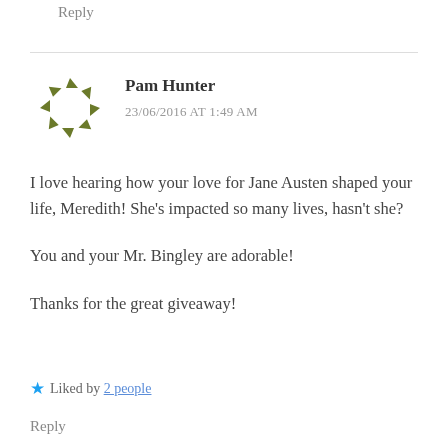Reply
[Figure (illustration): Circular avatar made of olive/dark-green arrow-like chevron shapes arranged in a circle]
Pam Hunter
23/06/2016 AT 1:49 AM
I love hearing how your love for Jane Austen shaped your life, Meredith! She's impacted so many lives, hasn't she?
You and your Mr. Bingley are adorable!
Thanks for the great giveaway!
★ Liked by 2 people
Reply